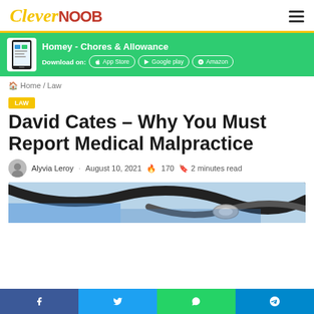CleverNoob
[Figure (infographic): Advertisement banner for Homey - Chores & Allowance app with green background, phone graphic, and download buttons for App Store, Google Play, and Amazon]
Home / Law
Law
David Cates – Why You Must Report Medical Malpractice
Alyvia Leroy · August 10, 2021 🔥 170 🏷 2 minutes read
[Figure (photo): Close-up photo of a stethoscope on a blue surface, cropped at bottom of visible area]
[Figure (infographic): Social share bar with 4 buttons: Facebook (blue), Twitter (light blue), WhatsApp (green), Telegram (blue)]